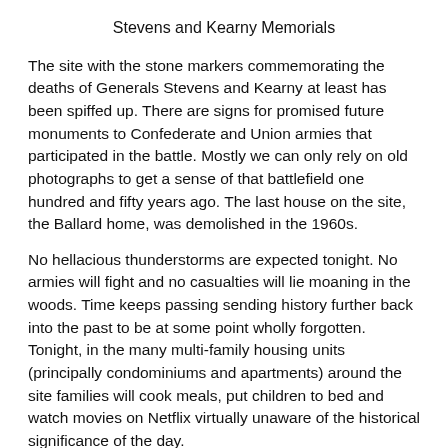Stevens and Kearny Memorials
The site with the stone markers commemorating the deaths of Generals Stevens and Kearny at least has been spiffed up. There are signs for promised future monuments to Confederate and Union armies that participated in the battle. Mostly we can only rely on old photographs to get a sense of that battlefield one hundred and fifty years ago. The last house on the site, the Ballard home, was demolished in the 1960s.
No hellacious thunderstorms are expected tonight. No armies will fight and no casualties will lie moaning in the woods. Time keeps passing sending history further back into the past to be at some point wholly forgotten. Tonight, in the many multi-family housing units (principally condominiums and apartments) around the site families will cook meals, put children to bed and watch movies on Netflix virtually unaware of the historical significance of the day.
At least a couple hundred of us though came together at the park and remembered one more battle in a long and bloody Civil War, and honor the history literally under our feet.